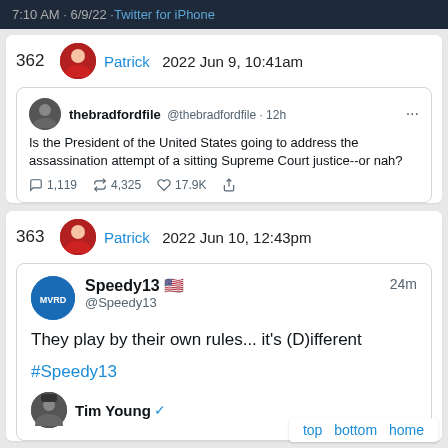7:10 AM · 6/9/22 · Twitter for iPhone
362  Patrick  2022 Jun 9, 10:41am
[Figure (screenshot): Embedded tweet from @thebradfordfile: Is the President of the United States going to address the assassination attempt of a sitting Supreme Court justice--or nah? Stats: 1,119 replies, 4,325 retweets, 17.9K likes]
363  Patrick  2022 Jun 10, 12:43pm
[Figure (screenshot): Embedded tweet from Speedy13 @Speedy13, 24m ago: They play by their own rules... it's (D)ifferent
#Speedy13
With Tim Young nested below]
top  bottom  home